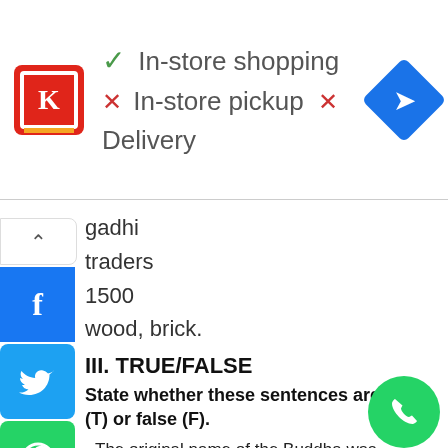[Figure (screenshot): Store ad banner showing Circle K logo with checkmark for In-store shopping, X marks for In-store pickup and Delivery, and a blue navigation diamond icon on the right]
[Figure (screenshot): Social sharing sidebar with collapse arrow, Facebook, Twitter, WhatsApp, and Add buttons]
gadhi
traders
1500
wood, brick.
III. TRUE/FALSE
State whether these sentences are true (T) or false (F).
The original name of the Buddha was Siddhartha.
The Buddha passed away at Kusinara.
The Buddha believed 'tanha' could be removed by the following each the situations.